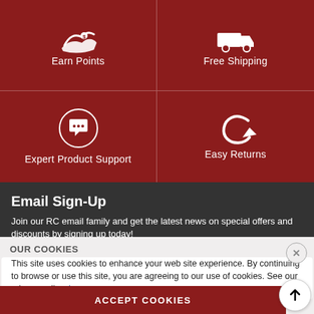[Figure (infographic): Four-cell red grid showing features: Earn Points (hand with coins icon), Free Shipping (truck icon), Expert Product Support (chat bubble icon in circle), Easy Returns (return arrow icon)]
Email Sign-Up
Join our RC email family and get the latest news on special offers and discounts by signing up today!
OUR COOKIES
This site uses cookies to enhance your web site experience. By continuing to browse or use this site, you are agreeing to our use of cookies. See our privacy policy here.
ACCEPT COOKIES